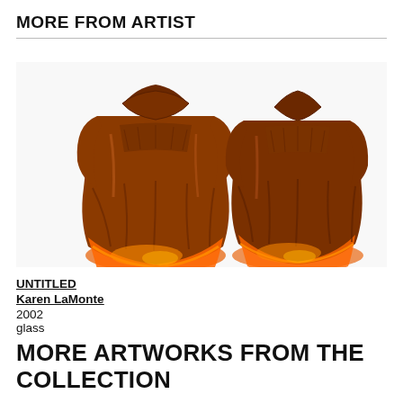MORE FROM ARTIST
[Figure (photo): Two amber/brown glass sculptural artworks shaped like children's dresses or garments, photographed side by side. The front view on the left and back view on the right show translucent orange-red glass with warm glowing tones at the hem.]
UNTITLED
Karen LaMonte
2002
glass
MORE ARTWORKS FROM THE COLLECTION